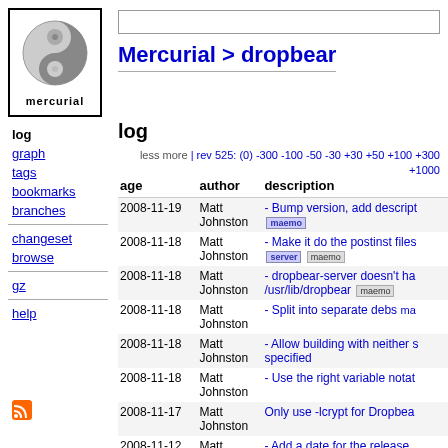[Figure (logo): Mercurial logo - grey yin-yang style graphic with text 'mercurial' below]
Mercurial > dropbear
log
less more | rev 525: (0) -300 -100 -50 -30 +30 +50 +100 +300 +1000 tip
| age | author | description |
| --- | --- | --- |
| 2008-11-19 | Matt Johnston | - Bump version, add descript... [maemo] |
| 2008-11-18 | Matt Johnston | - Make it do the postinst files [server] [maemo] |
| 2008-11-18 | Matt Johnston | - dropbear-server doesn't ha... /usr/lib/dropbear [maemo] |
| 2008-11-18 | Matt Johnston | - Split into separate debs [ma...] |
| 2008-11-18 | Matt Johnston | - Allow building with neither s... specified |
| 2008-11-18 | Matt Johnston | - Use the right variable notat... |
| 2008-11-17 | Matt Johnston | Only use -lcrypt for Dropbea... |
| 2008-11-12 | Matt Johnston | - Add a date for the release |